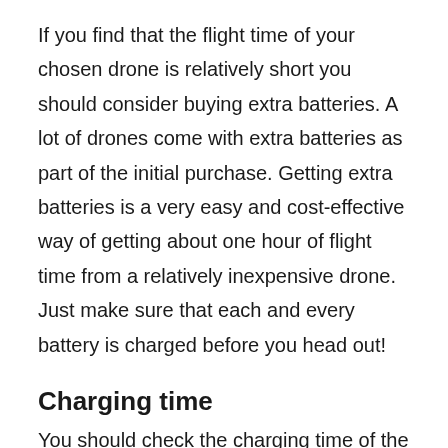If you find that the flight time of your chosen drone is relatively short you should consider buying extra batteries. A lot of drones come with extra batteries as part of the initial purchase. Getting extra batteries is a very easy and cost-effective way of getting about one hour of flight time from a relatively inexpensive drone. Just make sure that each and every battery is charged before you head out!
Charging time
You should check the charging time of the